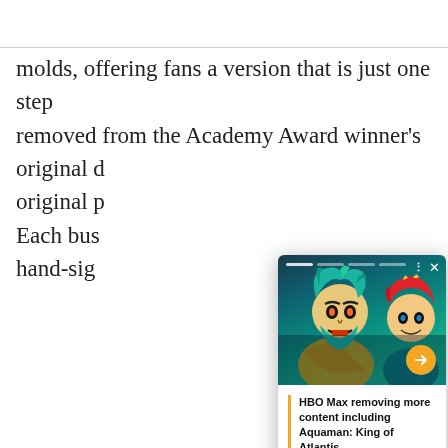molds, offering fans a version that is just one step removed from the Academy Award winner's original d… original p… Each bus… hand-sig…
[Figure (screenshot): A popup card overlay showing animated characters from Aquaman: King of Atlantis — a teal-haired bearded villain and a red-haired character — over a dark teal background with video player controls (dots menu, close X, orange arrow button). Below the image is a caption: 'HBO Max removing more content including Aquaman: King of Atlantis' with an orange left border accent bar.]